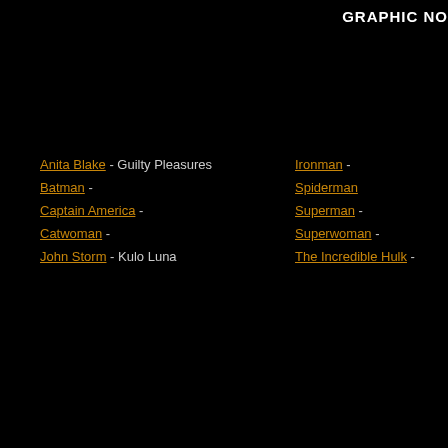GRAPHIC NO
Anita Blake - Guilty Pleasures
Batman -
Captain America -
Catwoman -
John Storm - Kulo Luna
Ironman -
Spiderman
Superman -
Superwoman -
The Incredible Hulk -
[Figure (illustration): Book cover showing KULO title with $ Billion Do subtitle and artistic illustration below]